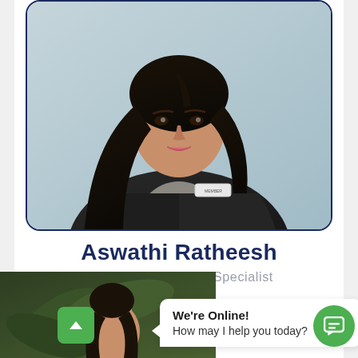[Figure (photo): Professional headshot photo of Aswathi Ratheesh, a woman with long black hair wearing a black blazer over a grey top with a name badge, posed against a light grey background. The photo is inside a rounded rectangle frame with a dark navy border.]
Aswathi Ratheesh
Company Formation Specialist
[Figure (photo): Partial view of another person's photo visible at the bottom left of the page, partially obscured by a live chat widget overlay.]
We're Online!
How may I help you today?